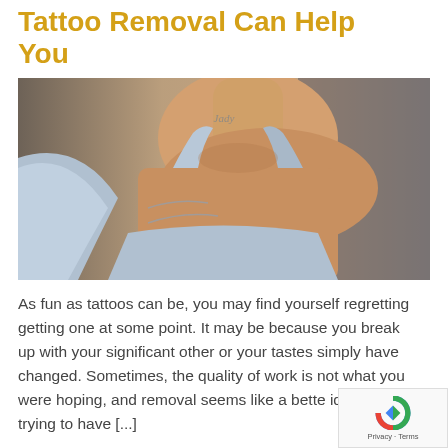Tattoo Removal Can Help You
[Figure (photo): Close-up photo of a person's upper back and neck, showing a tattoo with cursive script on the back of the neck. The person is wearing a light blue sleeveless top.]
As fun as tattoos can be, you may find yourself regretting getting one at some point. It may be because you break up with your significant other or your tastes simply have changed. Sometimes, the quality of work is not what you were hoping, and removal seems like a better idea than trying to have [...]